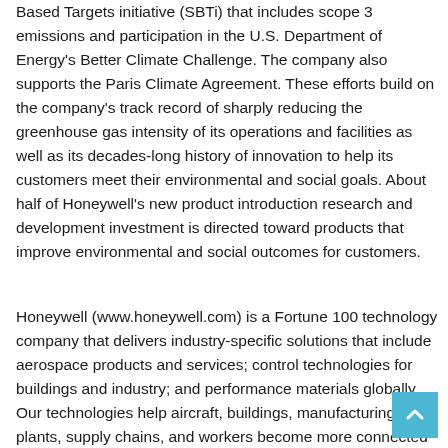Based Targets initiative (SBTi) that includes scope 3 emissions and participation in the U.S. Department of Energy's Better Climate Challenge. The company also supports the Paris Climate Agreement. These efforts build on the company's track record of sharply reducing the greenhouse gas intensity of its operations and facilities as well as its decades-long history of innovation to help its customers meet their environmental and social goals. About half of Honeywell's new product introduction research and development investment is directed toward products that improve environmental and social outcomes for customers.
Honeywell (www.honeywell.com) is a Fortune 100 technology company that delivers industry-specific solutions that include aerospace products and services; control technologies for buildings and industry; and performance materials globally. Our technologies help aircraft, buildings, manufacturing plants, supply chains, and workers become more connected to make